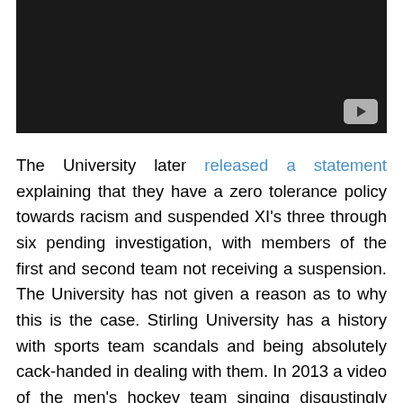[Figure (screenshot): Dark video thumbnail with a YouTube-style play button in the bottom-right corner]
The University later released a statement explaining that they have a zero tolerance policy towards racism and suspended XI's three through six pending investigation, with members of the first and second team not receiving a suspension. The University has not given a reason as to why this is the case. Stirling University has a history with sports team scandals and being absolutely cack-handed in dealing with them. In 2013 a video of the men's hockey team singing disgustingly sexist songs on public transport spread through social media and made international news. The team was punished with a suspension from playing hockey for the rest of the university year. The University's faculty isn't exempt from accusations of racism either, with